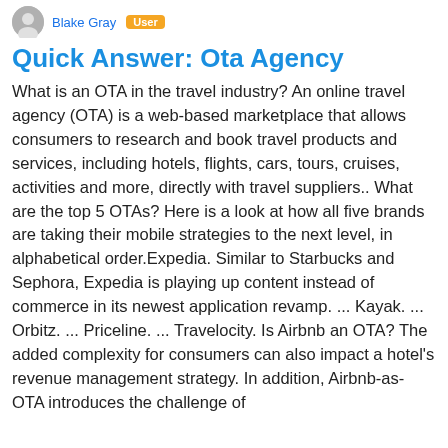Blake Gray  User
Quick Answer: Ota Agency
What is an OTA in the travel industry? An online travel agency (OTA) is a web-based marketplace that allows consumers to research and book travel products and services, including hotels, flights, cars, tours, cruises, activities and more, directly with travel suppliers.. What are the top 5 OTAs? Here is a look at how all five brands are taking their mobile strategies to the next level, in alphabetical order.Expedia. Similar to Starbucks and Sephora, Expedia is playing up content instead of commerce in its newest application revamp. ... Kayak. ... Orbitz. ... Priceline. ... Travelocity. Is Airbnb an OTA? The added complexity for consumers can also impact a hotel's revenue management strategy. In addition, Airbnb-as-OTA introduces the challenge of